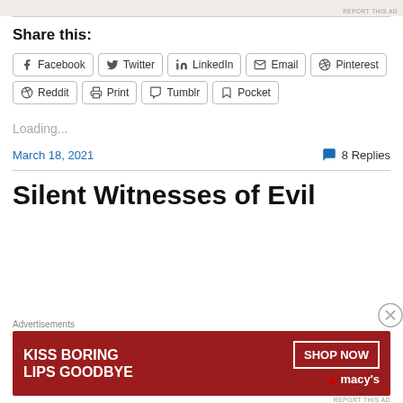[Figure (other): Top advertisement strip image (partial, cropped)]
REPORT THIS AD
Share this:
Facebook
Twitter
LinkedIn
Email
Pinterest
Reddit
Print
Tumblr
Pocket
Loading...
March 18, 2021
8 Replies
Silent Witnesses of Evil
Advertisements
[Figure (photo): Macy's advertisement banner: KISS BORING LIPS GOODBYE with SHOP NOW button and Macy's star logo, showing woman's face with red lips]